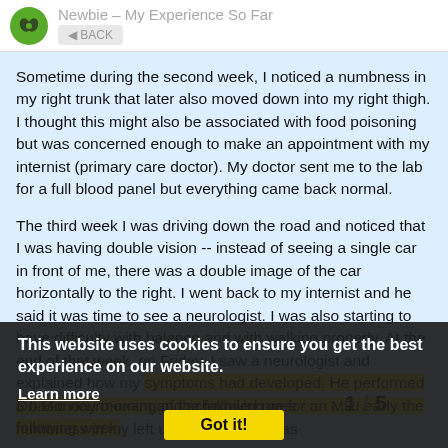Newbie – My Experience So Far
Sometime during the second week, I noticed a numbness in my right trunk that later also moved down into my right thigh. I thought this might also be associated with food poisoning but was concerned enough to make an appointment with my internist (primary care doctor). My doctor sent me to the lab for a full blood panel but everything came back normal.
The third week I was driving down the road and noticed that I was having double vision -- instead of seeing a single car in front of me, there was a double image of the car horizontally to the right. I went back to my internist and he said it was time to see a neurologist. I was also starting to have difficulty with balance and with walking properly. At the end of that week, on Friday, I saw a neurologist and explained how my symptoms had developed. He performed a basic neuro-exam and scheduled me for an MRI early the following week.
This website uses cookies to ensure you get the best experience on our website.
Learn more
Got it!
On Monday morning of the following wee
numbness in my left upper lip while I was
1 / 5